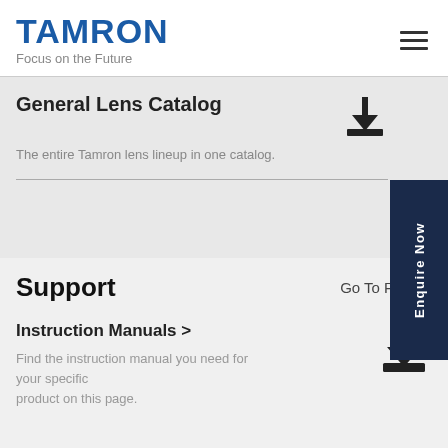TAMRON — Focus on the Future
General Lens Catalog
The entire Tamron lens lineup in one catalog.
Support
Go To Page >
Instruction Manuals >
Find the instruction manual you need for your specific product on this page.